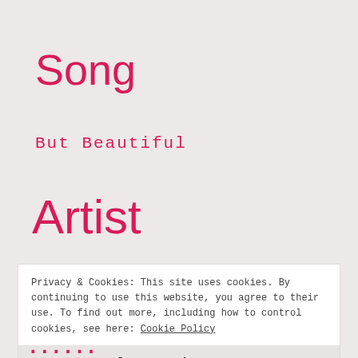Song
But Beautiful
Artist
Privacy & Cookies: This site uses cookies. By continuing to use this website, you agree to their use. To find out more, including how to control cookies, see here: Cookie Policy
Close and accept
...